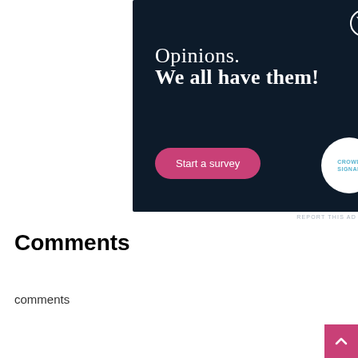[Figure (illustration): WordPress/Crowdsignal advertisement banner with dark navy background. Shows WordPress logo (W in circle) top right, text 'Opinions. We all have them!' in white serif font, a pink 'Start a survey' button, and a white circle with Crowdsignal logo on the right.]
REPORT THIS AD
Comments
comments